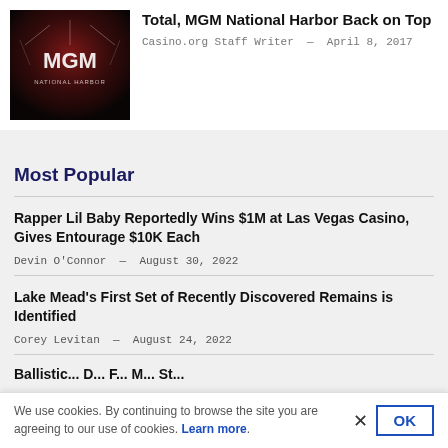[Figure (photo): MGM National Harbor casino sign with red lighting in background]
Total, MGM National Harbor Back on Top
Casino.org Staff Writer — April 8, 2017
Most Popular
Rapper Lil Baby Reportedly Wins $1M at Las Vegas Casino, Gives Entourage $10K Each
Devin O'Connor — August 30, 2022
Lake Mead's First Set of Recently Discovered Remains is Identified
Corey Levitan — August 24, 2022
Ballistic...
We use cookies. By continuing to browse the site you are agreeing to our use of cookies. Learn more.